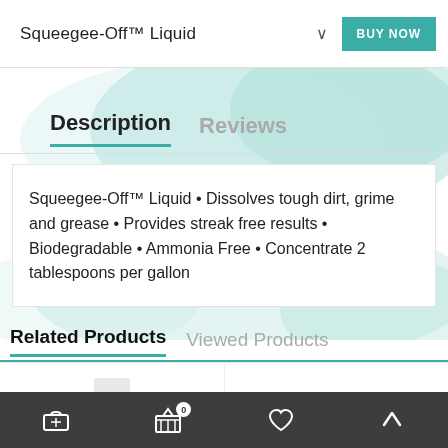Squeegee-Off™ Liquid
Description
Reviews
Squeegee-Off™ Liquid • Dissolves tough dirt, grime and grease • Provides streak free results • Biodegradable • Ammonia Free • Concentrate 2 tablespoons per gallon
Related Products
Viewed Products
[Figure (screenshot): Teal/mint watercolor splash background decoration]
[Figure (photo): Product image placeholder in first product cell]
Bottom navigation bar with cart icon, basket with badge 0, heart icon, and up-arrow icon